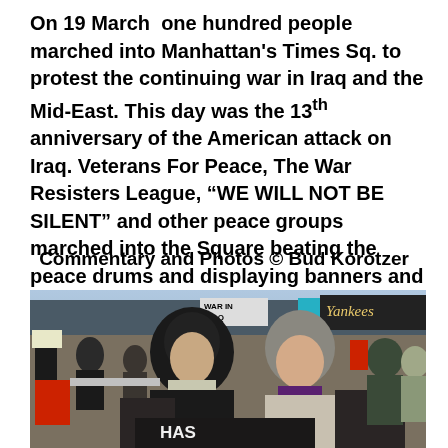On 19 March  one hundred people marched into Manhattan's Times Sq. to protest the continuing war in Iraq and the Mid-East. This day was the 13th anniversary of the American attack on Iraq. Veterans For Peace, The War Resisters League, "WE WILL NOT BE SILENT" and other peace groups marched into the Square beating the peace drums and displaying banners and posters demanding peace.
Commentary and Photos © Bud Korotzer
[Figure (photo): Protesters at Times Square holding signs. Two women in foreground, one wearing a black hooded coat and scarf, the other wearing a gray knit hat. They hold dark signs including one reading 'HAS'. Background shows Times Square with signs reading 'WAR IN' and 'Yankees' store front, other protesters visible.]